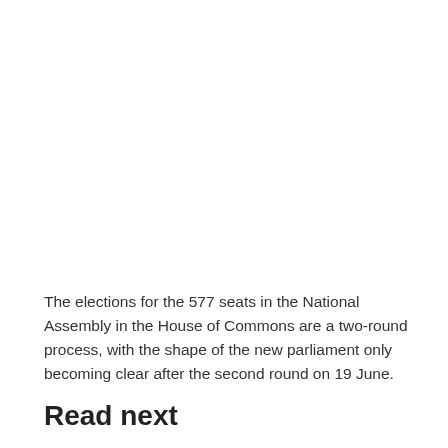The elections for the 577 seats in the National Assembly in the House of Commons are a two-round process, with the shape of the new parliament only becoming clear after the second round on 19 June.
Read next